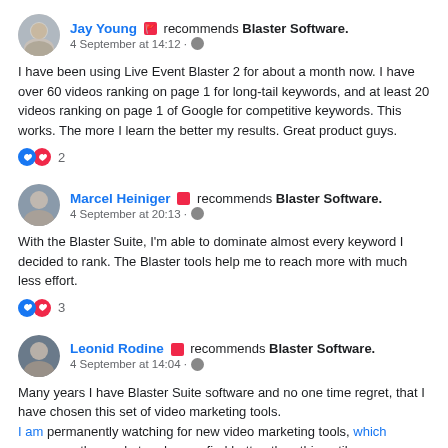[Figure (photo): Avatar photo of Jay Young]
Jay Young 🚩 recommends Blaster Software.
4 September at 14:12 · 🌐
I have been using Live Event Blaster 2 for about a month now. I have over 60 videos ranking on page 1 for long-tail keywords, and at least 20 videos ranking on page 1 of Google for competitive keywords. This works. The more I learn the better my results. Great product guys.
👍❤️ 2
[Figure (photo): Avatar photo of Marcel Heiniger]
Marcel Heiniger 🚩 recommends Blaster Software.
4 September at 20:13 · 🌐
With the Blaster Suite, I'm able to dominate almost every keyword I decided to rank. The Blaster tools help me to reach more with much less effort.
👍❤️ 3
[Figure (photo): Avatar photo of Leonid Rodine]
Leonid Rodine 🚩 recommends Blaster Software.
4 September at 14:04 · 🌐
Many years I have Blaster Suite software and no one time regret, that I have chosen this set of video marketing tools.
I am permanently watching for new video marketing tools, which appear on the market and never find better, than this until now. Because of this software created by marketing professionals, who not only know practically everything in this field but know, what exactly their software has to implement to give customers the best results all the time with all latest features, what now market requesting.
Even price ratio so affordable, that anybody from beginners can buy it and can start video marketing business right away and have success in a short time. Such results can be delivered by other vendors software, but not everybody can afford it to buy.